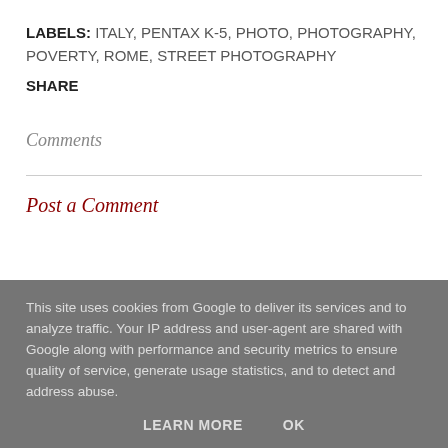LABELS: ITALY, PENTAX K-5, PHOTO, PHOTOGRAPHY, POVERTY, ROME, STREET PHOTOGRAPHY
SHARE
Comments
Post a Comment
This site uses cookies from Google to deliver its services and to analyze traffic. Your IP address and user-agent are shared with Google along with performance and security metrics to ensure quality of service, generate usage statistics, and to detect and address abuse.
LEARN MORE   OK